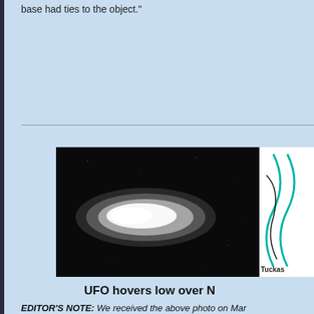base had ties to the object."
[Figure (photo): Black and white photograph of a glowing elongated oval UFO object against a dark night sky background, appearing bright white in center fading to grey edges. Partially visible diagram on the right side with teal/green curved lines and text 'Tuckas'.]
UFO hovers low over N
EDITOR'S NOTE: We received the above photo on Mar